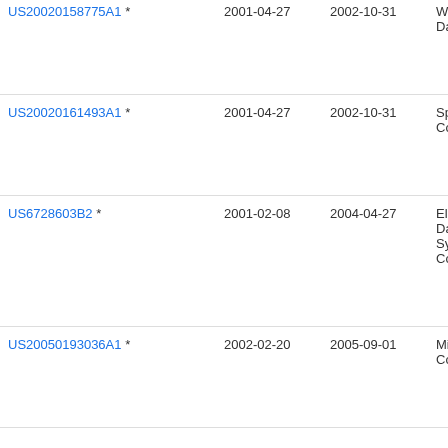| Patent | Priority Date | Publication Date | Assignee |
| --- | --- | --- | --- |
| US20020158775A1 * | 2001-04-27 | 2002-10-31 | Wa... Da... |
| US20020161493A1 * | 2001-04-27 | 2002-10-31 | Sp... Cor... |
| US6728603B2 * | 2001-02-08 | 2004-04-27 | Ele... Dat... Sys... Cor... |
| US20050193036A1 * | 2002-02-20 | 2005-09-01 | Mic... Cor... |